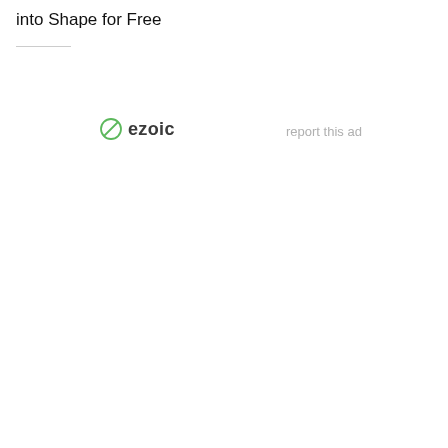into Shape for Free
[Figure (logo): Ezoic logo with circular icon and bold 'ezoic' text in dark color]
report this ad